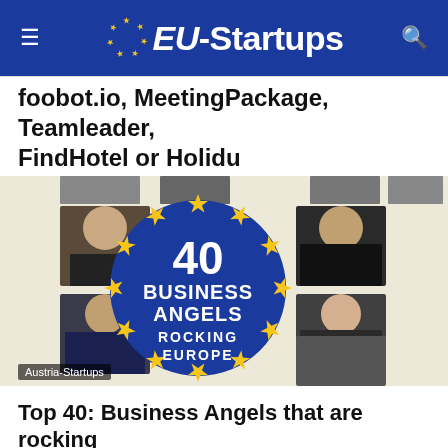EU-Startups
foobot.io, MeetingPackage, Teamleader, FindHotel or Holidu
Thomas Ohr – December 15, 2017
[Figure (photo): Collage image: central blue circle badge reading '40 Business Angels Rocking Europe' surrounded by gold stars (EU flag motif), with portrait photos of various people around the edges. Austria-Startups label visible.]
Top 40: Business Angels that are rocking Europe and help startups